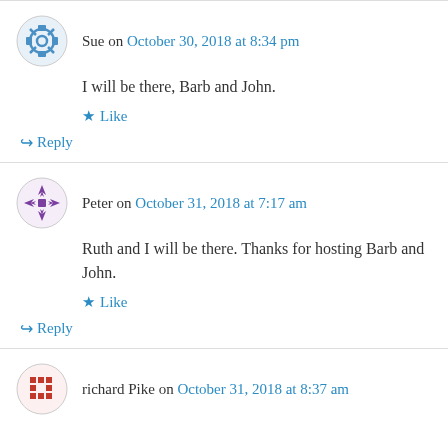Sue on October 30, 2018 at 8:34 pm
I will be there, Barb and John.
Like
Reply
Peter on October 31, 2018 at 7:17 am
Ruth and I will be there. Thanks for hosting Barb and John.
Like
Reply
richard Pike on October 31, 2018 at 8:37 am